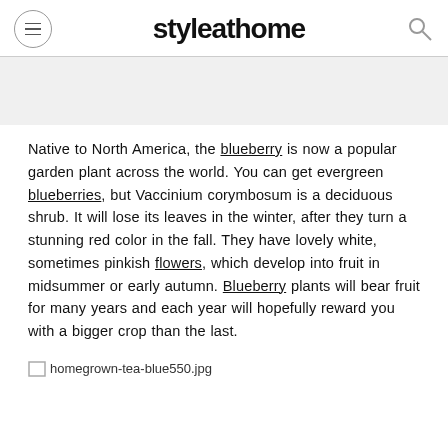styleathome
Native to North America, the blueberry is now a popular garden plant across the world. You can get evergreen blueberries, but Vaccinium corymbosum is a deciduous shrub. It will lose its leaves in the winter, after they turn a stunning red color in the fall. They have lovely white, sometimes pinkish flowers, which develop into fruit in midsummer or early autumn. Blueberry plants will bear fruit for many years and each year will hopefully reward you with a bigger crop than the last.
[Figure (photo): Broken image placeholder for homegrown-tea-blue550.jpg]